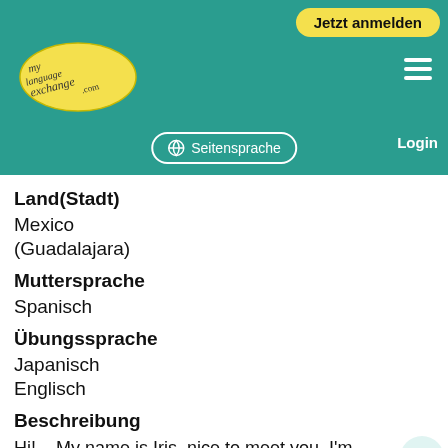Jetzt anmelden | Seitensprache | Login | MyLanguageExchange.com
Land(Stadt)
Mexico (Guadalajara)
Muttersprache
Spanisch
Übungssprache
Japanisch
Englisch
Beschreibung
Hi! .. My name is Iris, nice to meet you. I'm interested in learning Japanese and improving my English skills. I love music, reading and learning about other cultures. It would be great to meet people with whom I can practice, share knowledge and be friends. I will be happy to help you with your Spanish. Feel free to ask me any question. :)